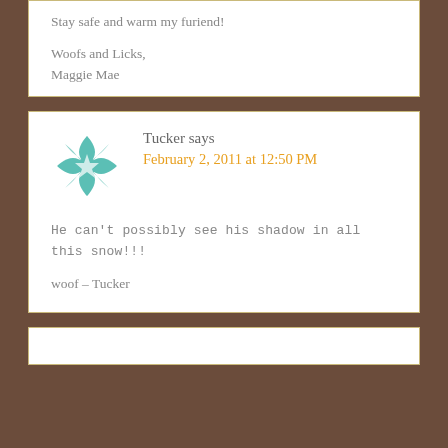Stay safe and warm my furiend!

Woofs and Licks,
Maggie Mae
Tucker says
February 2, 2011 at 12:50 PM
He can't possibly see his shadow in all this snow!!!

woof – Tucker